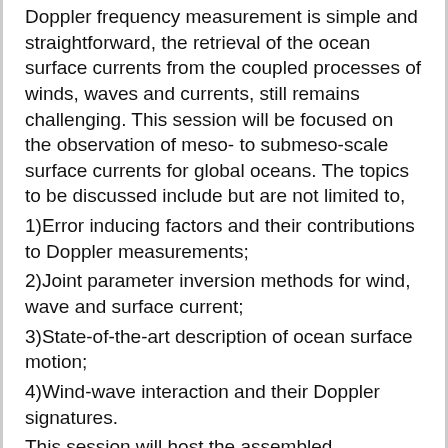Doppler frequency measurement is simple and straightforward, the retrieval of the ocean surface currents from the coupled processes of winds, waves and currents, still remains challenging. This session will be focused on the observation of meso- to submeso-scale surface currents for global oceans. The topics to be discussed include but are not limited to,
1)Error inducing factors and their contributions to Doppler measurements;
2)Joint parameter inversion methods for wind, wave and surface current;
3)State-of-the-art description of ocean surface motion;
4)Wind-wave interaction and their Doppler signatures.
This session will host the assembled discussion on the above topics and the recent progresses of the missions in this innovative field.
Convenors: Xiaolong Dong (NSSC, Chinese